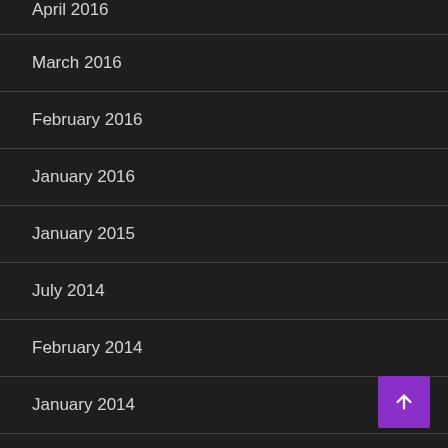April 2016
March 2016
February 2016
January 2016
January 2015
July 2014
February 2014
January 2014
October 2013
September 2011
August 2011